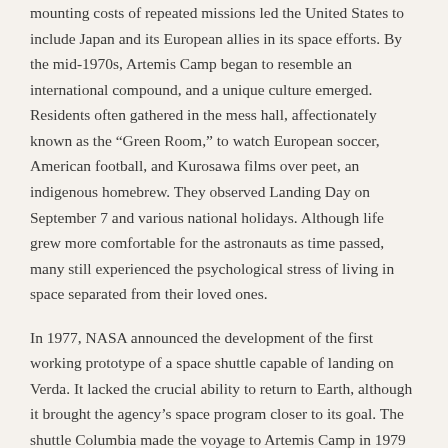mounting costs of repeated missions led the United States to include Japan and its European allies in its space efforts. By the mid-1970s, Artemis Camp began to resemble an international compound, and a unique culture emerged. Residents often gathered in the mess hall, affectionately known as the “Green Room,” to watch European soccer, American football, and Kurosawa films over peet, an indigenous homebrew. They observed Landing Day on September 7 and various national holidays. Although life grew more comfortable for the astronauts as time passed, many still experienced the psychological stress of living in space separated from their loved ones.
In 1977, NASA announced the development of the first working prototype of a space shuttle capable of landing on Verda. It lacked the crucial ability to return to Earth, although it brought the agency’s space program closer to its goal. The shuttle Columbia made the voyage to Artemis Camp in 1979 and never returned. Scientists converted the shuttle into an intra-space transport, and it flew several missions over Artemis Camp, mapping